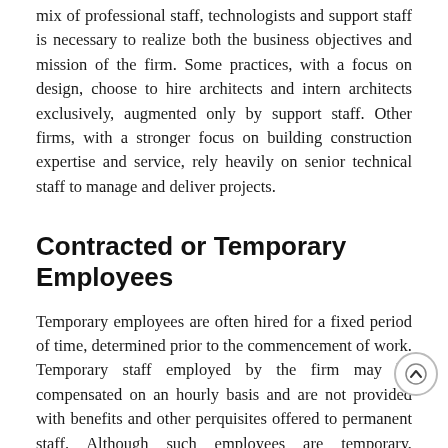mix of professional staff, technologists and support staff is necessary to realize both the business objectives and mission of the firm. Some practices, with a focus on design, choose to hire architects and intern architects exclusively, augmented only by support staff. Other firms, with a stronger focus on building construction expertise and service, rely heavily on senior technical staff to manage and deliver projects.
Contracted or Temporary Employees
Temporary employees are often hired for a fixed period of time, determined prior to the commencement of work. Temporary staff employed by the firm may be compensated on an hourly basis and are not provided with benefits and other perquisites offered to permanent staff. Although such employees are temporary, employers are required to make statutory contributions and deductions for taxes, pension